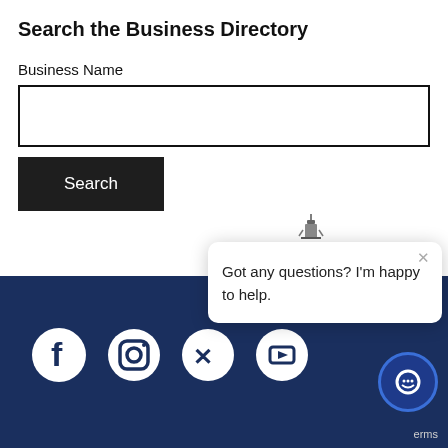Search the Business Directory
Business Name
[Figure (screenshot): Empty text input field for Business Name search]
[Figure (screenshot): Dark Search button]
[Figure (screenshot): Dark blue footer with social media icons (Facebook, Instagram, Twitter/X, and another icon)]
[Figure (screenshot): Chat widget popup with lighthouse icon and text: Got any questions? I'm happy to help.]
Got any questions? I'm happy to help.